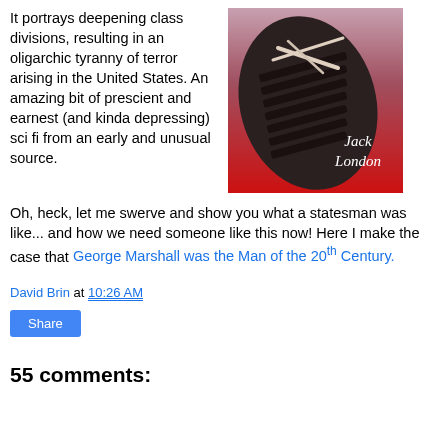It portrays deepening class divisions, resulting in an oligarchic tyranny of terror arising in the United States. An amazing bit of prescient and earnest (and kinda depressing) sci fi from an early and unusual source.
[Figure (photo): Book cover showing a boot sole stamping downward, with 'Jack London' written in white cursive on a red background]
Oh, heck, let me swerve and show you what a statesman was like... and how we need someone like this now! Here I make the case that George Marshall was the Man of the 20th Century.
David Brin at 10:26 AM
Share
55 comments: